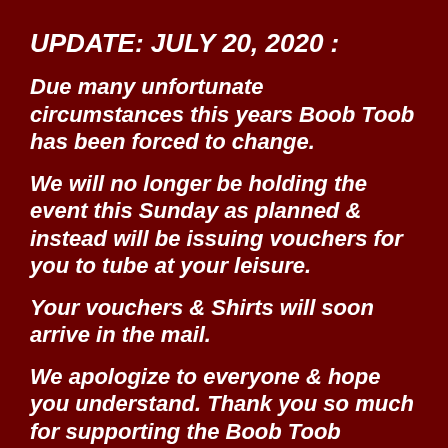UPDATE: JULY 20, 2020 :
Due many unfortunate circumstances this years Boob Toob has been forced to change.
We will no longer be holding the event this Sunday as planned & instead will be issuing vouchers for you to tube at your leisure.
Your vouchers & Shirts will soon arrive in the mail.
We apologize to everyone & hope you understand. Thank you so much for supporting the Boob Toob